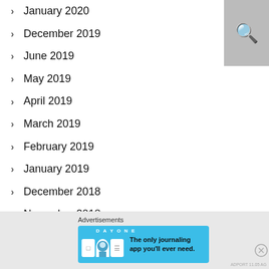January 2020
December 2019
June 2019
May 2019
April 2019
March 2019
February 2019
January 2019
December 2018
November 2018
[Figure (screenshot): Search icon in grey box top right]
Advertisements
[Figure (screenshot): Day One journaling app advertisement banner: 'The only journaling app you'll ever need.']